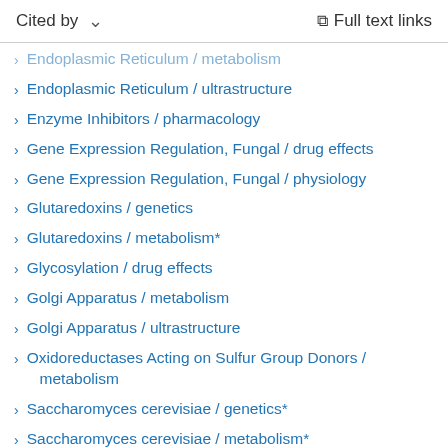Cited by   Full text links
Endoplasmic Reticulum / metabolism
Endoplasmic Reticulum / ultrastructure
Enzyme Inhibitors / pharmacology
Gene Expression Regulation, Fungal / drug effects
Gene Expression Regulation, Fungal / physiology
Glutaredoxins / genetics
Glutaredoxins / metabolism*
Glycosylation / drug effects
Golgi Apparatus / metabolism
Golgi Apparatus / ultrastructure
Oxidoreductases Acting on Sulfur Group Donors / metabolism
Saccharomyces cerevisiae / genetics*
Saccharomyces cerevisiae / metabolism*
Saccharomyces cerevisiae Proteins / genetics
Saccharomyces cerevisiae Proteins / metabolism*
Secretory Vesicles / genetics
Secretory Vesicles / metabolism